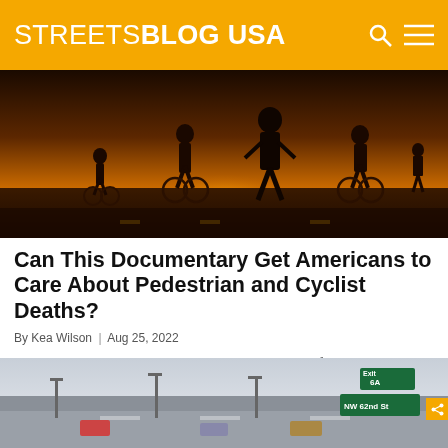STREETSBLOG USA
[Figure (photo): Silhouettes of cyclists on a road at sunset/golden hour, with warm orange glow in the background]
Can This Documentary Get Americans to Care About Pedestrian and Cyclist Deaths?
By Kea Wilson | Aug 25, 2022
A new documentary aims to tell the dramatic story of America's escalating pedestrian and cyclist death crisis — and, hopefully, inspire non-advocates to get involved in the movement to end the epidemic.
[Figure (photo): Overhead highway scene with road signs including 'Exit 6A' and 'NW 62nd St' green signs, cars visible on the road]